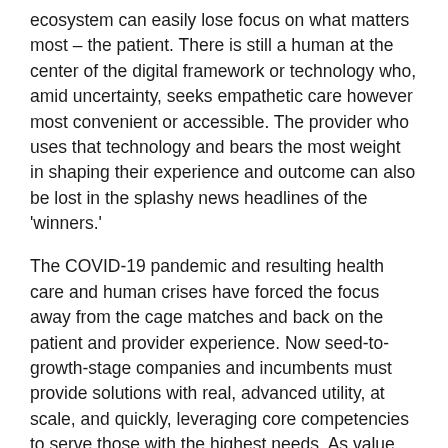ecosystem can easily lose focus on what matters most – the patient. There is still a human at the center of the digital framework or technology who, amid uncertainty, seeks empathetic care however most convenient or accessible. The provider who uses that technology and bears the most weight in shaping their experience and outcome can also be lost in the splashy news headlines of the 'winners.'
The COVID-19 pandemic and resulting health care and human crises have forced the focus away from the cage matches and back on the patient and provider experience. Now seed-to-growth-stage companies and incumbents must provide solutions with real, advanced utility, at scale, and quickly, leveraging core competencies to serve those with the highest needs. As value chains and supply chains are reconstructed (and simplified) with patients at the center, bells and whistles are a distraction. Providers are singularly focused on pragmatic, integrated solutions to continuous care access and delivery – virtual triage...